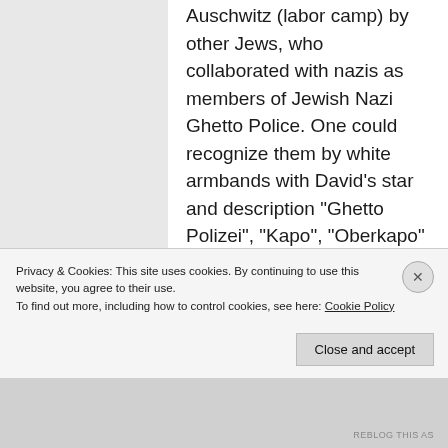Auschwitz (labor camp) by other Jews, who collaborated with nazis as members of Jewish Nazi Ghetto Police. One could recognize them by white armbands with David's star and description "Ghetto Polizei", "Kapo", "Oberkapo" or "Judische Ordungsdienst". So, yes, certain Zionist Jews did collaborate with the Nazis in hopes to obtain a Jewish
Privacy & Cookies: This site uses cookies. By continuing to use this website, you agree to their use.
To find out more, including how to control cookies, see here: Cookie Policy
Close and accept